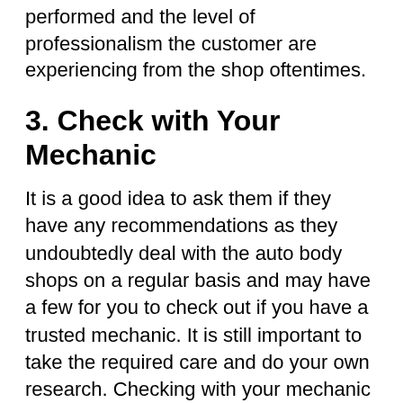performed and the level of professionalism the customer are experiencing from the shop oftentimes.
3. Check with Your Mechanic
It is a good idea to ask them if they have any recommendations as they undoubtedly deal with the auto body shops on a regular basis and may have a few for you to check out if you have a trusted mechanic. It is still important to take the required care and do your own research. Checking with your mechanic is a good place to make a start, as a matter of course.
4. Look for Certified Technicians